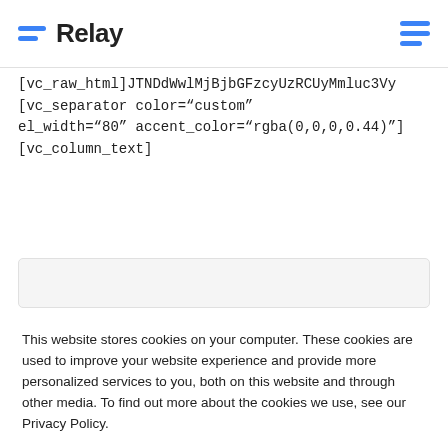[Figure (logo): Relay logo with blue horizontal lines icon and 'Relay' text, plus hamburger menu icon on the right]
[vc_raw_html]JTNDdWwlMjBjbGFzcyUzRCUyMmluc3Vy
[vc_separator color="custom"
el_width="80" accent_color="rgba(0,0,0,0.44)"]
[vc_column_text]
This website stores cookies on your computer. These cookies are used to improve your website experience and provide more personalized services to you, both on this website and through other media. To find out more about the cookies we use, see our Privacy Policy.
We won't track your information when you visit our site. But in order to comply with your preferences, we'll have to use just one tiny cookie so that you're not asked to make this choice again.